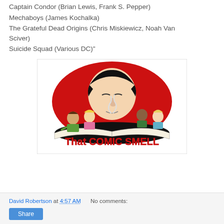Captain Condor (Brian Lewis, Frank S. Pepper)
Mechaboys (James Kochalka)
The Grateful Dead Origins (Chris Miskiewicz, Noah Van Sciver)
Suicide Squad (Various DC)"
[Figure (illustration): Illustrated logo for 'That COMIC SMELL' showing a large central face with black hair and closed eyes, surrounded by smaller cartoon characters reading/holding books, on a red and white background with bold red text reading 'That COMIC SMELL' along the bottom.]
David Robertson at 4:57 AM   No comments:
Share